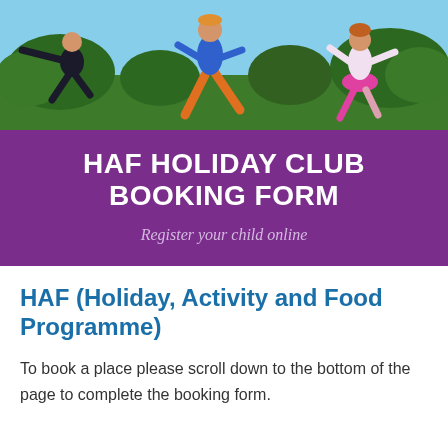[Figure (photo): Banner photo showing children jumping outdoors with trees and blue sky in the background]
HAF HOLIDAY CLUB BOOKING FORM
Register your child online
HAF (Holiday, Activity and Food Programme)
To book a place please scroll down to the bottom of the page to complete the booking form.